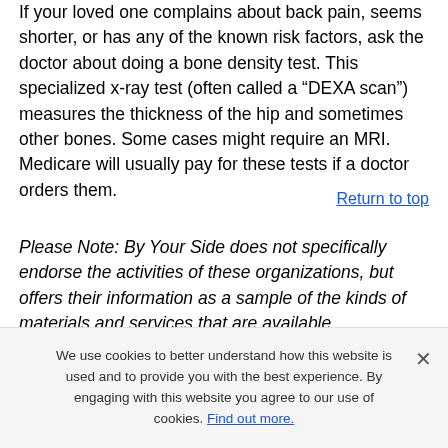If your loved one complains about back pain, seems shorter, or has any of the known risk factors, ask the doctor about doing a bone density test. This specialized x-ray test (often called a “DEXA scan”) measures the thickness of the hip and sometimes other bones. Some cases might require an MRI. Medicare will usually pay for these tests if a doctor orders them.
Return to top
Please Note: By Your Side does not specifically endorse the activities of these organizations, but offers their information as a sample of the kinds of materials and services that are available.
We use cookies to better understand how this website is used and to provide you with the best experience. By engaging with this website you agree to our use of cookies. Find out more.